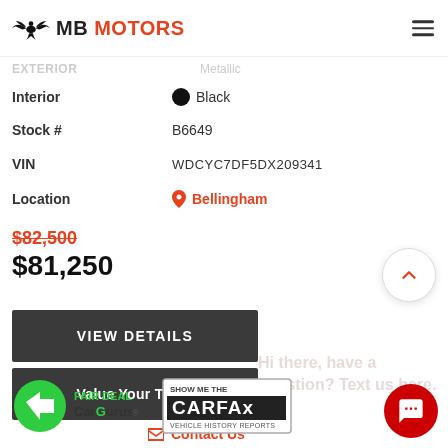[Figure (logo): MB Motors logo with eagle/bird icon and brand name]
Exterior
Metallic
Interior   ● Black
Stock #   B6649
VIN   WDCYC7DF5DX209341
Location   📍 Bellingham
$82,500 (strikethrough)
$81,250
VIEW DETAILS
Value Your Trade
Contact Us
[Figure (logo): CarGurus Fair Deal badge]
[Figure (logo): Show Me The CARFAX vehicle history reports badge]